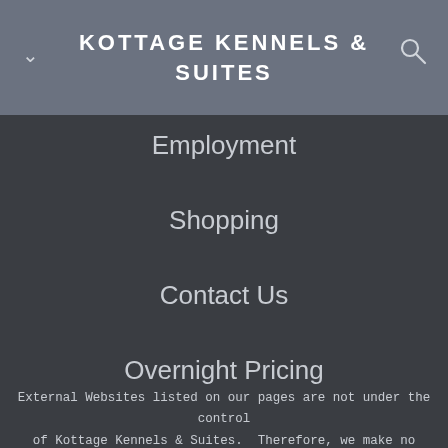KOTTAGE KENNELS & SUITES
Employment
Shopping
Contact Us
Overnight Pricing
External Websites listed on our pages are not under the control of Kottage Kennels & Suites.  Therefore, we make no